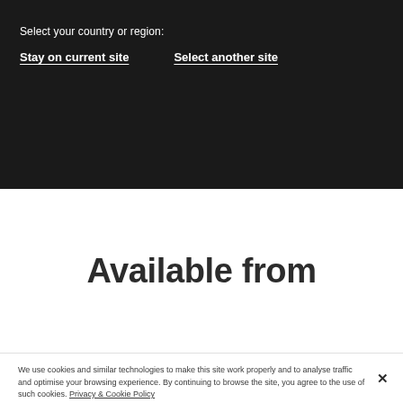Select your country or region:
Stay on current site
Select another site
Available from
We use cookies and similar technologies to make this site work properly and to analyse traffic and optimise your browsing experience. By continuing to browse the site, you agree to the use of such cookies. Privacy & Cookie Policy